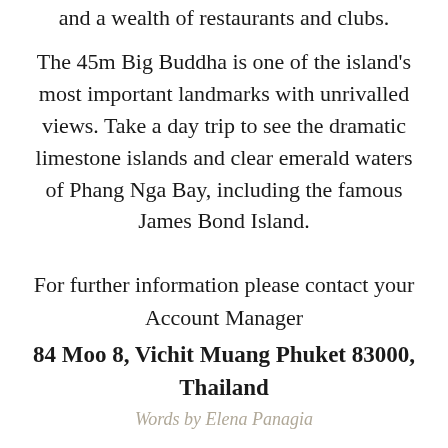and a wealth of restaurants and clubs.
The 45m Big Buddha is one of the island's most important landmarks with unrivalled views. Take a day trip to see the dramatic limestone islands and clear emerald waters of Phang Nga Bay, including the famous James Bond Island.
For further information please contact your Account Manager
84 Moo 8, Vichit Muang Phuket 83000, Thailand
Words by Elena Panagia